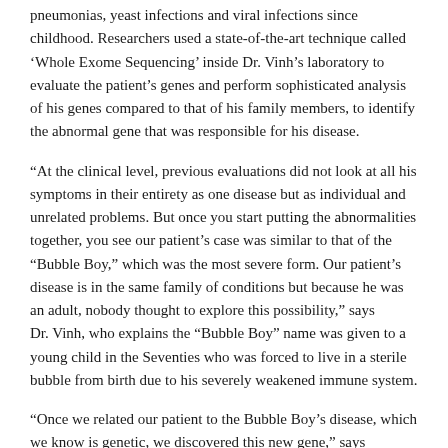pneumonias, yeast infections and viral infections since childhood. Researchers used a state-of-the-art technique called 'Whole Exome Sequencing' inside Dr. Vinh's laboratory to evaluate the patient's genes and perform sophisticated analysis of his genes compared to that of his family members, to identify the abnormal gene that was responsible for his disease.
“At the clinical level, previous evaluations did not look at all his symptoms in their entirety as one disease but as individual and unrelated problems. But once you start putting the abnormalities together, you see our patient’s case was similar to that of the “Bubble Boy,” which was the most severe form. Our patient’s disease is in the same family of conditions but because he was an adult, nobody thought to explore this possibility,” says Dr. Vinh, who explains the “Bubble Boy” name was given to a young child in the Seventies who was forced to live in a sterile bubble from birth due to his severely weakened immune system.
“Once we related our patient to the Bubble Boy’s disease, which we know is genetic, we discovered this new gene,” says Dr. Vinh, who collaborated with Dr. André Veillette, the Director of the IRCM Molecular Oncology Research Unit at the Montreal Clinical Research Institute (IRCM) in the study.